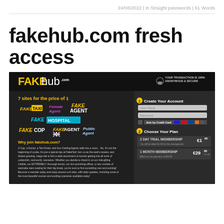24/08/2022 | in Straight passwords | 61 Words
fakehub.com fresh access
[Figure (screenshot): Screenshot of fakehub.com membership signup page showing logo, site brands (FAKE TAXI, Female Agent, FAKE AGENT, FAKE HOSPITAL, FAKE COP, FAKE AGENT UK, Public Agent), Create Your Account form with User Name and Password fields, and Choose Your Plan section with 2 DAY TRIAL MEMBERSHIP €1.00 and 1 MONTH MEMBERSHIP €29.95 options.]